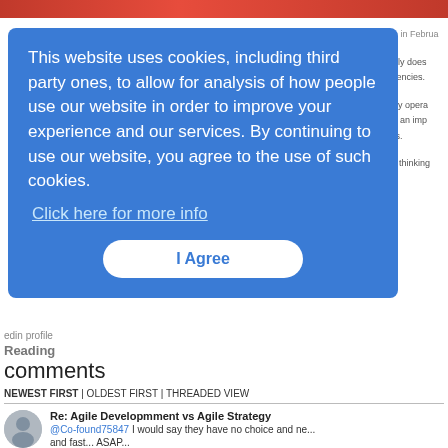[Figure (screenshot): Red/orange banner image at top of page]
This website uses cookies, including third party ones, to allow for analysis of how people use our website in order to improve your experience and our services. By continuing to use our website, you agree to the use of such cookies. Click here for more info
I Agree
LinkedIn profile
Reading
comments
NEWEST FIRST | OLDEST FIRST | THREADED VIEW
Re: Agile Developmment vs Agile Strategy
@Co-found75847  I would say they have no choice and ne... and fast... ASAP...
batye
5/9/2016 3:24:02 AM
Reply   Post Message   Messages List   Start a Board